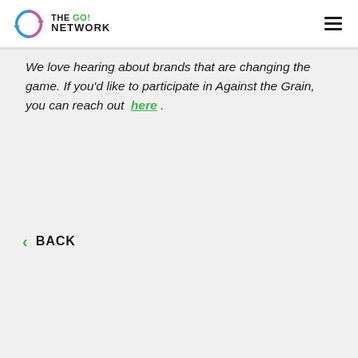THE GO! NETWORK
We love hearing about brands that are changing the game. If you'd like to participate in Against the Grain, you can reach out here.
< BACK